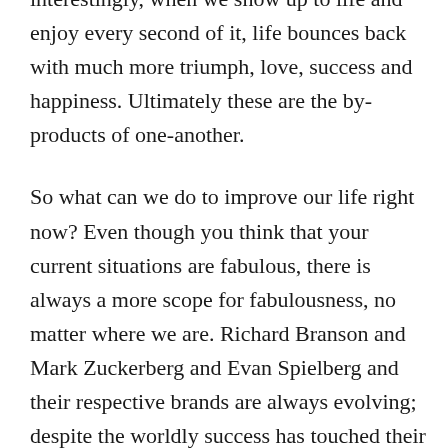interestingly, when we show up to life and enjoy every second of it, life bounces back with much more triumph, love, success and happiness. Ultimately these are the by-products of one-another.
So what can we do to improve our life right now? Even though you think that your current situations are fabulous, there is always a more scope for fabulousness, no matter where we are. Richard Branson and Mark Zuckerberg and Evan Spielberg and their respective brands are always evolving; despite the worldly success has touched their feet many times. Why do they do that? Because they know that they come alive through pouring wonderful value into the world. There is no end point to growth. You are the roadmap of the destination you choose, simply, just choose it and keep propelling